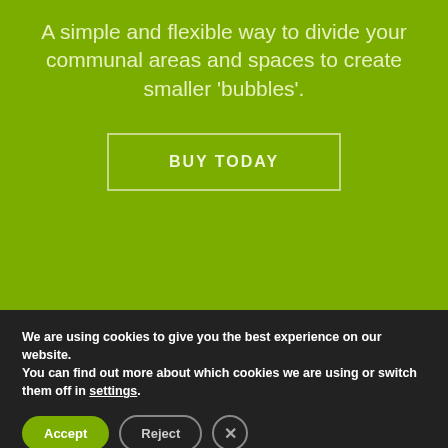A simple and flexible way to divide your communal areas and spaces to create smaller 'bubbles'.
BUY TODAY
We are using cookies to give you the best experience on our website. You can find out more about which cookies we are using or switch them off in settings.